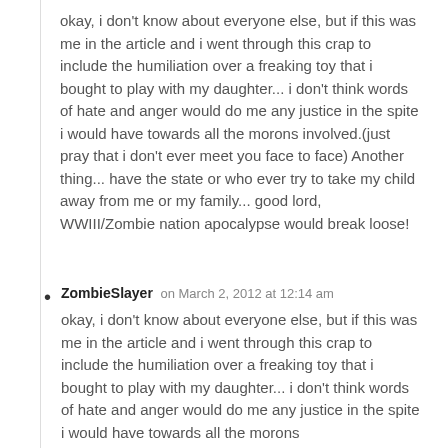okay, i don't know about everyone else, but if this was me in the article and i went through this crap to include the humiliation over a freaking toy that i bought to play with my daughter... i don't think words of hate and anger would do me any justice in the spite i would have towards all the morons involved.(just pray that i don't ever meet you face to face) Another thing... have the state or who ever try to take my child away from me or my family... good lord, WWIII/Zombie nation apocalypse would break loose!
ZombieSlayer on March 2, 2012 at 12:14 am
okay, i don't know about everyone else, but if this was me in the article and i went through this crap to include the humiliation over a freaking toy that i bought to play with my daughter... i don't think words of hate and anger would do me any justice in the spite i would have towards all the morons